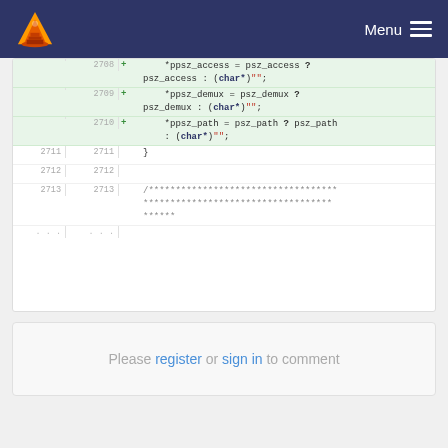VLC media player — Menu
[Figure (screenshot): Code diff view showing added lines 2708-2713 with C code for *ppsz_access, *ppsz_demux, *ppsz_path assignments and closing brace and comment block]
Please register or sign in to comment